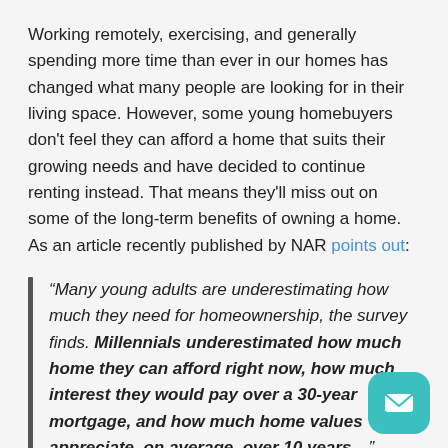Working remotely, exercising, and generally spending more time than ever in our homes has changed what many people are looking for in their living space. However, some young homebuyers don't feel they can afford a home that suits their growing needs and have decided to continue renting instead. That means they'll miss out on some of the long-term benefits of owning a home. As an article recently published by NAR points out:
“Many young adults are underestimating how much they need for homeownership, the survey finds. Millennials underestimated how much home they can afford right now, how much interest they would pay over a 30-year mortgage, and how much home values appreciate, on average, over 10 years…”
Knowing how much home you can afford when starting the buying process is critical and could be the game-changer